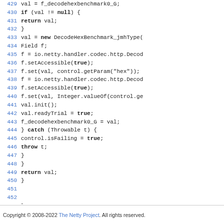Code listing lines 429-454 showing Java source code for DecodeHexBenchmark
Copyright © 2008-2022 The Netty Project. All rights reserved.